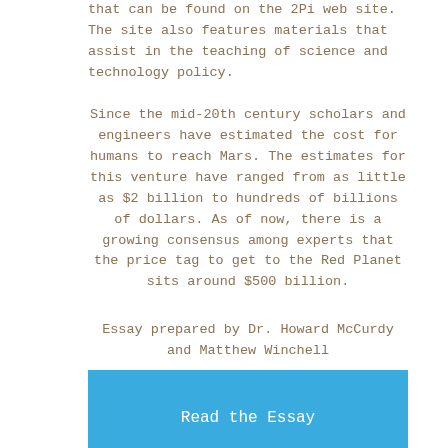that can be found on the 2Pi web site. The site also features materials that assist in the teaching of science and technology policy.
Since the mid-20th century scholars and engineers have estimated the cost for humans to reach Mars. The estimates for this venture have ranged from as little as $2 billion to hundreds of billions of dollars. As of now, there is a growing consensus among experts that the price tag to get to the Red Planet sits around $500 billion.
Essay prepared by Dr. Howard McCurdy and Matthew Winchell
[Figure (other): Blue button labeled 'Read the Essay']
A Science Technology